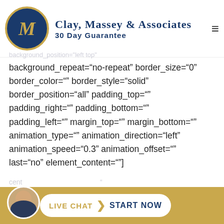[Figure (logo): Clay, Massey & Associates logo with circular navy and gold emblem, firm name and 30 Day Guarantee tagline]
background_repeat="no-repeat" border_size="0" border_color="" border_style="solid" border_position="all" padding_top="" padding_right="" padding_bottom="" padding_left="" margin_top="" margin_bottom="" animation_type="" animation_direction="left" animation_speed="0.3" animation_offset="" last="no" element_content=""] [/fusion_builder_column][fusion_builder_column type="1_2" layout="3_5" spacing="yes"
[Figure (photo): Live Chat button with man avatar and Start Now call to action on gold bar]